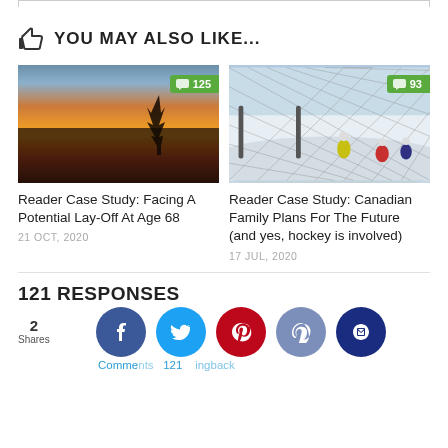YOU MAY ALSO LIKE...
[Figure (photo): Sunset landscape with tree silhouette and orange/red sky, comment badge showing 125]
[Figure (photo): Ice hockey rink with players, viewed through chain-link fence, comment badge showing 93]
Reader Case Study: Facing A Potential Lay-Off At Age 68
21 OCT, 2020
Reader Case Study: Canadian Family Plans For The Future (and yes, hockey is involved)
17 JUL, 2020
121 RESPONSES
2
Shares
Comments 121    Pingbacks